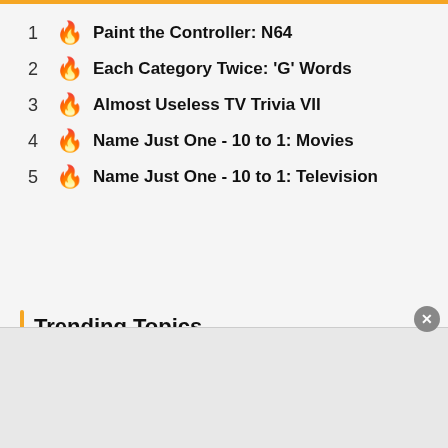1 🔥 Paint the Controller: N64
2 🔥 Each Category Twice: 'G' Words
3 🔥 Almost Useless TV Trivia VII
4 🔥 Name Just One - 10 to 1: Movies
5 🔥 Name Just One - 10 to 1: Television
Trending Topics
Crossword  Disney  Kpop  Harry Potter  NBA